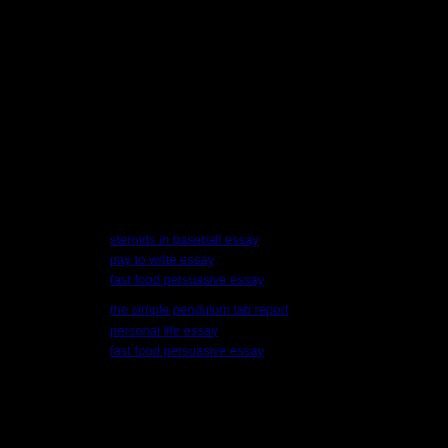steroids in baseball essay
pay to write essay
fast food persuasive essay
the simple pendulum lab report
personal life essay
fast food persuasive essay